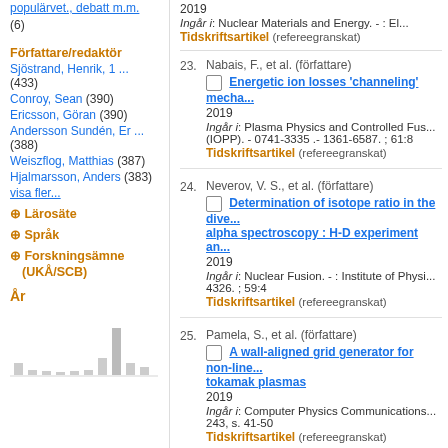populärvet., debatt m.m. (6)
Författare/redaktör
Sjöstrand, Henrik, 1 ... (433)
Conroy, Sean (390)
Ericsson, Göran (390)
Andersson Sundén, Er ... (388)
Weiszflog, Matthias (387)
Hjalmarsson, Anders (383)
visa fler...
⊕ Lärosäte
⊕ Språk
⊕ Forskningsämne (UKÅ/SCB)
År
[Figure (bar-chart): Bar chart showing distribution by year, with bars of varying heights]
2019
Ingår i: Nuclear Materials and Energy. - : El...
Tidskriftsartikel (refereegranskat)
23. Nabais, F., et al. (författare)
Energetic ion losses 'channeling' mecha...
2019
Ingår i: Plasma Physics and Controlled Fus... (IOPP). - 0741-3335 .- 1361-6587. ; 61:8
Tidskriftsartikel (refereegranskat)
24. Neverov, V. S., et al. (författare)
Determination of isotope ratio in the dive... alpha spectroscopy : H-D experiment an...
2019
Ingår i: Nuclear Fusion. - : Institute of Physi... 4326. ; 59:4
Tidskriftsartikel (refereegranskat)
25. Pamela, S., et al. (författare)
A wall-aligned grid generator for non-line... tokamak plasmas
2019
Ingår i: Computer Physics Communications... 243, s. 41-50
Tidskriftsartikel (refereegranskat)